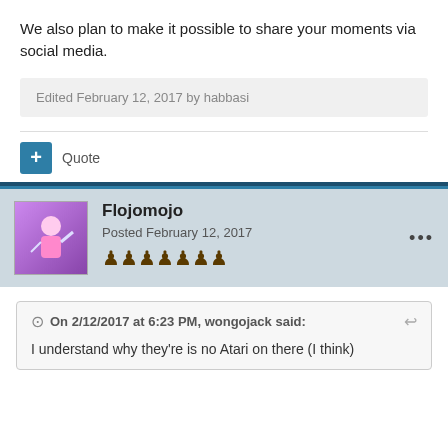We also plan to make it possible to share your moments via social media.
Edited February 12, 2017 by habbasi
Quote
Flojomojo
Posted February 12, 2017
On 2/12/2017 at 6:23 PM, wongojack said:
I understand why they're is no Atari on there (I think)